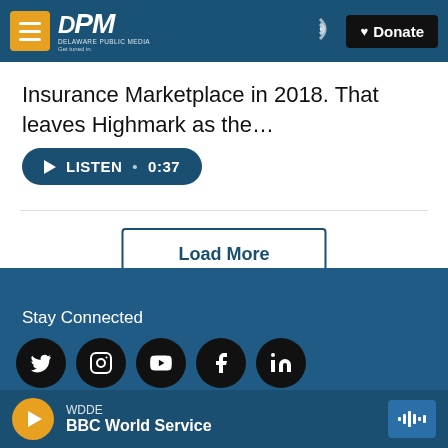DPM Delaware Public Media — Donate
Insurance Marketplace in 2018. That leaves Highmark as the…
LISTEN • 0:37
Load More
Stay Connected
WDDE
BBC World Service